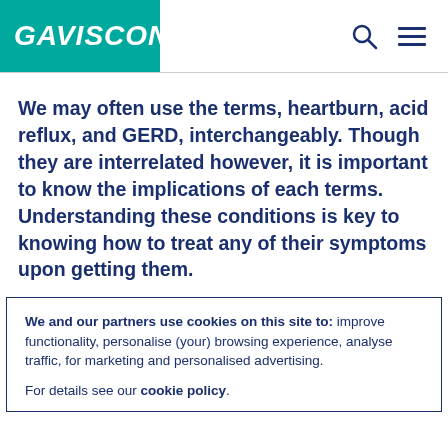GAVISCON
We may often use the terms, heartburn, acid reflux, and GERD, interchangeably. Though they are interrelated however, it is important to know the implications of each terms. Understanding these conditions is key to knowing how to treat any of their symptoms upon getting them.
We and our partners use cookies on this site to: improve functionality, personalise (your) browsing experience, analyse traffic, for marketing and personalised advertising.

For details see our cookie policy.